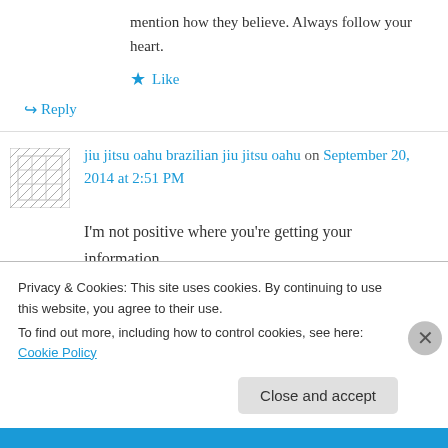mention how they believe. Always follow your heart.
Like
Reply
jiu jitsu oahu brazilian jiu jitsu oahu on September 20, 2014 at 2:51 PM
I'm not positive where you're getting your information,
Privacy & Cookies: This site uses cookies. By continuing to use this website, you agree to their use. To find out more, including how to control cookies, see here: Cookie Policy
Close and accept